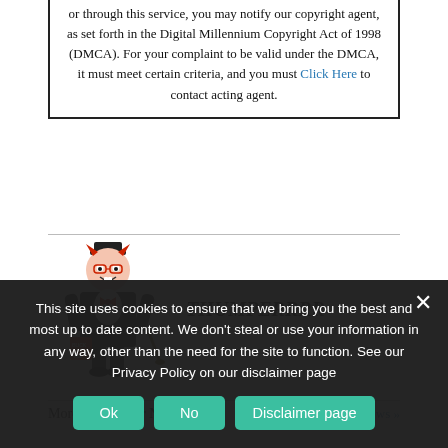or through this service, you may notify our copyright agent, as set forth in the Digital Millennium Copyright Act of 1998 (DMCA). For your complaint to be valid under the DMCA, it must meet certain criteria, and you must Click Here to contact acting agent.
[Figure (illustration): A cartoon character resembling a devil or demon in a tuxedo with a top hat, holding a cane, with a red logo/badge. Represents the author THUMPERRRR.]
THUMPERRRR
More from 1%er News
More posts in 1%er News »
This site uses cookies to ensure that we bring you the best and most up to date content. We don't steal or use your information in any way, other than the need for the site to function. See our Privacy Policy on our disclaimer page